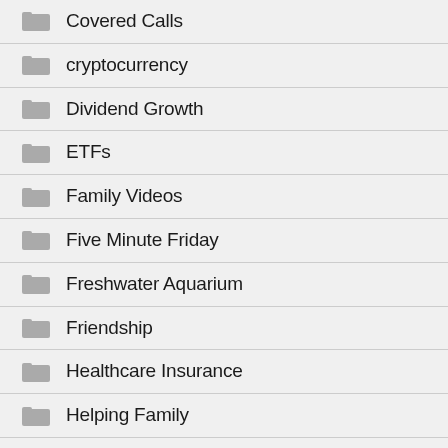Covered Calls
cryptocurrency
Dividend Growth
ETFs
Family Videos
Five Minute Friday
Freshwater Aquarium
Friendship
Healthcare Insurance
Helping Family